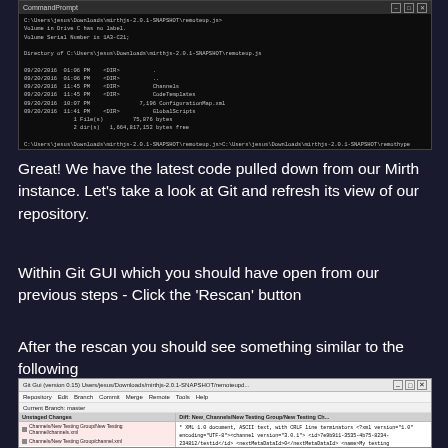[Figure (screenshot): Command Prompt terminal window showing directory listing and git clone/download commands for mirthjsrc repository]
Great! We have the latest code pulled down from our Mirth instance. Let's take a look at Git and refresh its view of our repository.
Within Git GUI which you should have open from our previous steps - Click the 'Rescan' button
After the rescan you should see something similar to the following
[Figure (screenshot): Git GUI window showing unstaged changes panel on the left with highlighted files, and diff/changes panel on the right showing XML content]